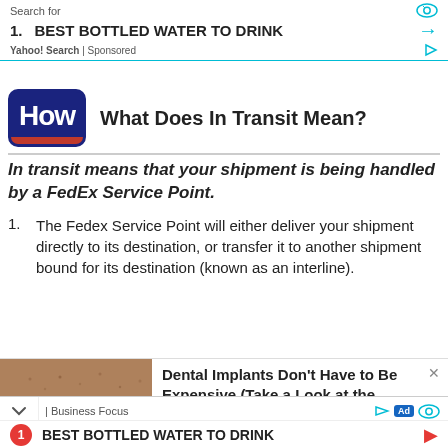[Figure (screenshot): Search ad banner: 'Search for' label with eye icon, row '1. BEST BOTTLED WATER TO DRINK' with arrow, 'Yahoo! Search | Sponsored' footer with play icon]
[Figure (logo): HowStuffWorks 'How' logo — dark navy rounded rectangle with red underline]
What Does In Transit Mean?
In transit means that your shipment is being handled by a FedEx Service Point.
The Fedex Service Point will either deliver your shipment directly to its destination, or transfer it to another shipment bound for its destination (known as an interline).
[Figure (photo): Photo of a person showing teeth/dental work, used in a dental implants advertisement]
Dental Implants Don't Have to Be Expensive (Take a Look at the...
Dental Implants | Search Ads | Sponsored
2. Th... Po...
[Figure (screenshot): Bottom bar with chevron, 'Business Focus', Ad badge, eye icon]
[Figure (screenshot): Bottom bar with red circle '1', 'BEST BOTTLED WATER TO DRINK', red play icon]